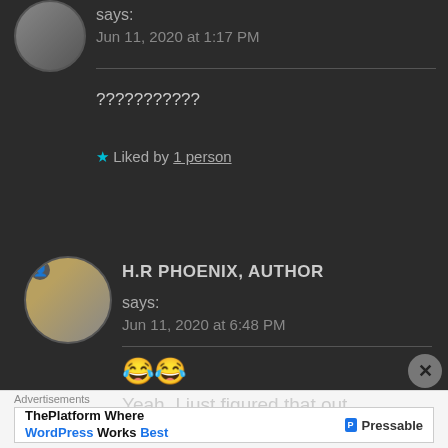says:
Jun 11, 2020 at 1:17 PM
???????????
★ Liked by 1 person
H.R PHOENIX, AUTHOR says: Jun 11, 2020 at 6:48 PM
😂😂 Yeah, I just figured that out right now!
Advertisements
ThePlatform Where WordPress Works Best  P Pressable